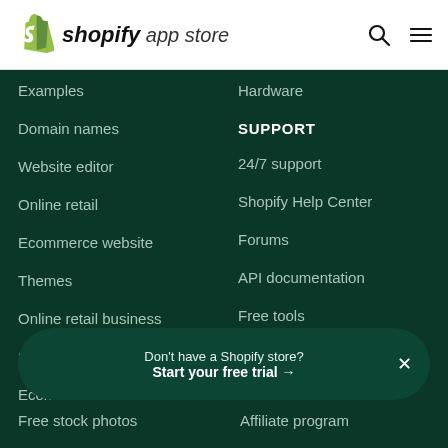shopify app store
Examples
Domain names
Website editor
Online retail
Ecommerce website
Themes
Online retail business
Shopping cart
Ecommerce hosting
Mobile commerce
Free stock photos
Hardware
SUPPORT
24/7 support
Shopify Help Center
Forums
API documentation
Free tools
SHOPIFY
Contact
Affiliate program
Don't have a Shopify store? Start your free trial →